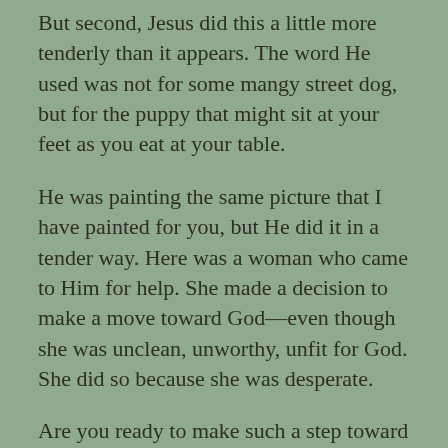But second, Jesus did this a little more tenderly than it appears. The word He used was not for some mangy street dog, but for the puppy that might sit at your feet as you eat at your table.
He was painting the same picture that I have painted for you, but He did it in a tender way. Here was a woman who came to Him for help. She made a decision to make a move toward God—even though she was unclean, unworthy, unfit for God. She did so because she was desperate.
Are you ready to make such a step toward God today? Is there some need in your life that presses you to fall at the feet of Jesus and